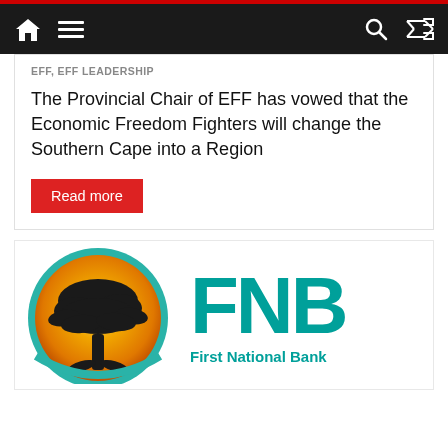Navigation bar with home icon, menu icon, search icon, shuffle icon
EFF, EFF LEADERSHIP
The Provincial Chair of EFF has vowed that the Economic Freedom Fighters will change the Southern Cape into a Region
Read more
[Figure (logo): FNB First National Bank logo — circular tree icon with orange/gold gradient background and teal border, next to 'FNB' in large teal letters and 'First National Bank' in teal below]